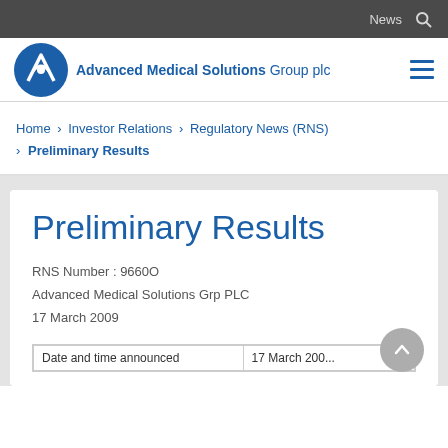News
[Figure (logo): Advanced Medical Solutions Group plc logo — blue stylized A icon with company name]
Home > Investor Relations > Regulatory News (RNS) > Preliminary Results
Preliminary Results
RNS Number : 9660O
Advanced Medical Solutions Grp PLC
17 March 2009
|  |  |
| --- | --- |
| Date and time announced | 17 March 200... |